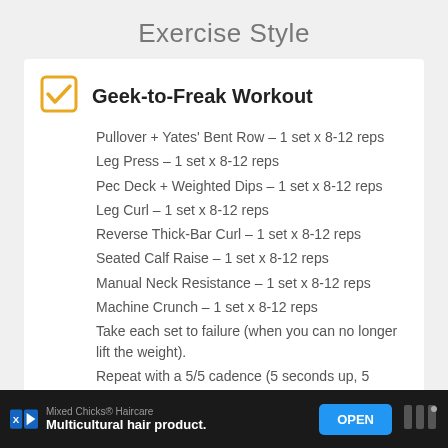Exercise Style
Geek-to-Freak Workout
Pullover + Yates' Bent Row – 1 set x 8-12 reps
Leg Press – 1 set x 8-12 reps
Pec Deck + Weighted Dips – 1 set x 8-12 reps
Leg Curl – 1 set x 8-12 reps
Reverse Thick-Bar Curl – 1 set x 8-12 reps
Seated Calf Raise – 1 set x 8-12 reps
Manual Neck Resistance – 1 set x 8-12 reps
Machine Crunch – 1 set x 8-12 reps
Take each set to failure (when you can no longer lift the weight).
Repeat with a 5/5 cadence (5 seconds up, 5 seconds down).
Mixed Chicks® Haircare — Multicultural hair product. OPEN